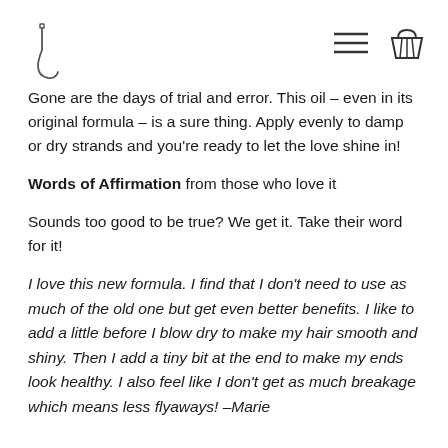[Logo] [hamburger menu] [cart icon]
Gone are the days of trial and error. This oil – even in its original formula – is a sure thing. Apply evenly to damp or dry strands and you're ready to let the love shine in!
Words of Affirmation from those who love it
Sounds too good to be true? We get it. Take their word for it!
I love this new formula. I find that I don't need to use as much of the old one but get even better benefits. I like to add a little before I blow dry to make my hair smooth and shiny. Then I add a tiny bit at the end to make my ends look healthy. I also feel like I don't get as much breakage which means less flyaways! –Marie